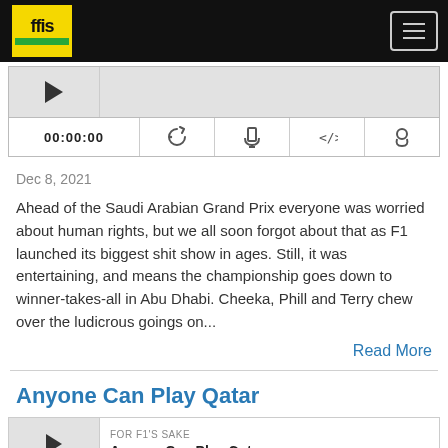ffls — navigation header with logo and menu button
[Figure (screenshot): Audio player widget showing thumbnail placeholder, progress bar, time display 00:00:00, and playback control icons (RSS, download, embed, share)]
Dec 8, 2021
Ahead of the Saudi Arabian Grand Prix everyone was worried about human rights, but we all soon forgot about that as F1 launched its biggest shit show in ages. Still, it was entertaining, and means the championship goes down to winner-takes-all in Abu Dhabi. Cheeka, Phill and Terry chew over the ludicrous goings on...
Read More
Anyone Can Play Qatar
[Figure (screenshot): Podcast episode thumbnail with play button, label FOR F1'S SAKE, and episode title Anyone Can Play Qatar]